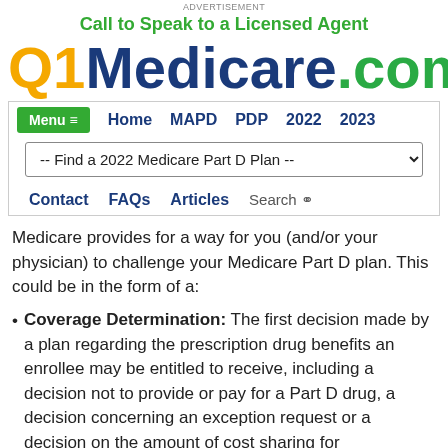ADVERTISEMENT
Call to Speak to a Licensed Agent
Q1Medicare.com
Menu  Home  MAPD  PDP  2022  2023
-- Find a 2022 Medicare Part D Plan --
Contact  FAQs  Articles  Search
Medicare provides for a way for you (and/or your physician) to challenge your Medicare Part D plan. This could be in the form of a:
Coverage Determination: The first decision made by a plan regarding the prescription drug benefits an enrollee may be entitled to receive, including a decision not to provide or pay for a Part D drug, a decision concerning an exception request or a decision on the amount of cost sharing for a drug.